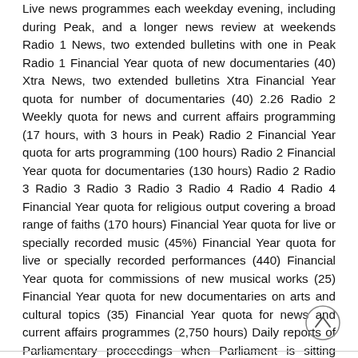Live news programmes each weekday evening, including during Peak, and a longer news review at weekends Radio 1 News, two extended bulletins with one in Peak Radio 1 Financial Year quota of new documentaries (40) Xtra News, two extended bulletins Xtra Financial Year quota for number of documentaries (40) 2.26 Radio 2 Weekly quota for news and current affairs programming (17 hours, with 3 hours in Peak) Radio 2 Financial Year quota for arts programming (100 hours) Radio 2 Financial Year quota for documentaries (130 hours) Radio 2 Radio 3 Radio 3 Radio 3 Radio 3 Radio 4 Radio 4 Radio 4 Financial Year quota for religious output covering a broad range of faiths (170 hours) Financial Year quota for live or specially recorded music (45%) Financial Year quota for live or specially recorded performances (440) Financial Year quota for commissions of new musical works (25) Financial Year quota for new documentaries on arts and cultural topics (35) Financial Year quota for news and current affairs programmes (2,750 hours) Daily reports of Parliamentary proceedings when Parliament is sitting Financial Year quota for original documentaries covering range of subjects (375 hours)